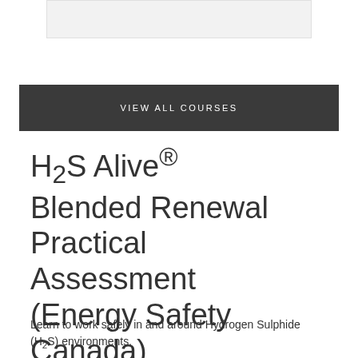[Figure (other): Light grey rounded rectangle box at top of page]
VIEW ALL COURSES
H2S Alive® Blended Renewal Practical Assessment (Energy Safety Canada)
Learn to work safely in and around Hydrogen Sulphide (H2S) environments.